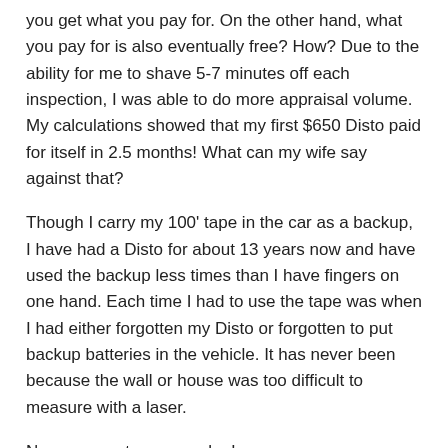you get what you pay for.  On the other hand, what you pay for is also eventually free?  How?  Due to the ability for me to shave 5-7 minutes off each inspection, I was able to do more appraisal volume.  My calculations showed that my first $650 Disto paid for itself in 2.5 months!  What can my wife say against that?
Though I carry my 100' tape in the car as a backup, I have had a Disto for about 13 years now and have used the backup less times than I have fingers on one hand.  Each time I had to use the tape was when I had either forgotten my Disto or forgotten to put backup batteries in the vehicle.  It has never been because the wall or house was too difficult to measure with a laser.
Now, go create some value!